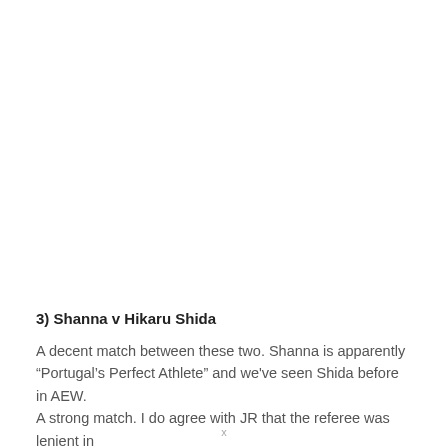3) Shanna v Hikaru Shida
A decent match between these two. Shanna is apparently “Portugal’s Perfect Athlete” and we’ve seen Shida before in AEW. A strong match. I do agree with JR that the referee was lenient in